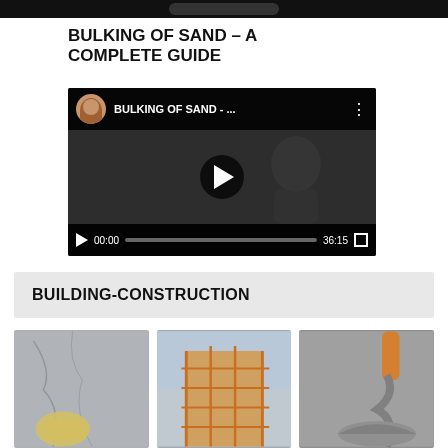BULKING OF SAND – A COMPLETE GUIDE
[Figure (screenshot): Embedded video player showing 'BULKING OF SAND -...' with avatar thumbnail, play button, time 00:00 and duration 36:15, dark background]
BUILDING-CONSTRUCTION
[Figure (photo): Three construction-related thumbnail images: cracked wall with gloved hand, scaffolding on building, cement/concrete pouring]